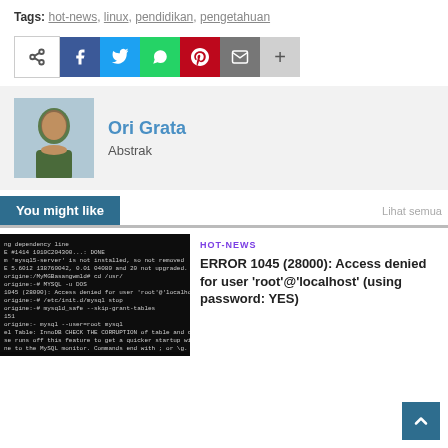Tags: hot-news, linux, pendidikan, pengetahuan
[Figure (infographic): Social share buttons: share icon, Facebook, Twitter, WhatsApp, Pinterest, Email, more (+)]
Ori Grata
Abstrak
You might like
Lihat semua
[Figure (screenshot): Terminal/command line screenshot showing MySQL error output on dark background]
HOT-NEWS
ERROR 1045 (28000): Access denied for user 'root'@'localhost' (using password: YES)